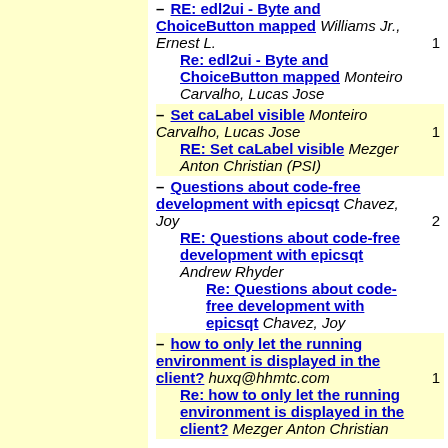– RE: edl2ui - Byte and ChoiceButton mapped Williams Jr., Ernest L.
    Re: edl2ui - Byte and ChoiceButton mapped Monteiro Carvalho, Lucas Jose  1
– Set caLabel visible Monteiro Carvalho, Lucas Jose
    RE: Set caLabel visible Mezger Anton Christian (PSI)  1
– Questions about code-free development with epicsqt Chavez, Joy
    RE: Questions about code-free development with epicsqt Andrew Rhyder
        Re: Questions about code-free development with epicsqt Chavez, Joy  2
– how to only let the running environment is displayed in the client? huxq@hhmtc.com
    Re: how to only let the running environment is displayed in the client? Mezger Anton Christian  1